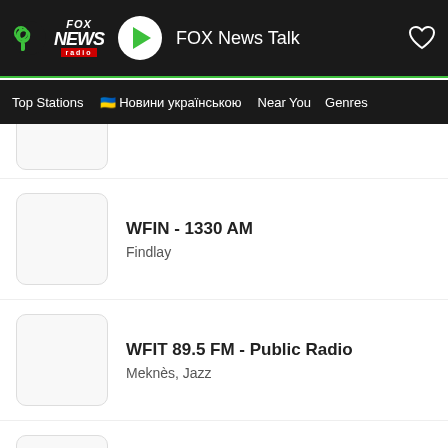FOX News Talk
Top Stations | 🇺🇦 Новини українською | Near You | Genres
WFIN - 1330 AM
Findlay
WFIT 89.5 FM - Public Radio
Meknès, Jazz
WFLK - K 101.7 FM
Geneva, Country
WFLS-FM 93.3 FM